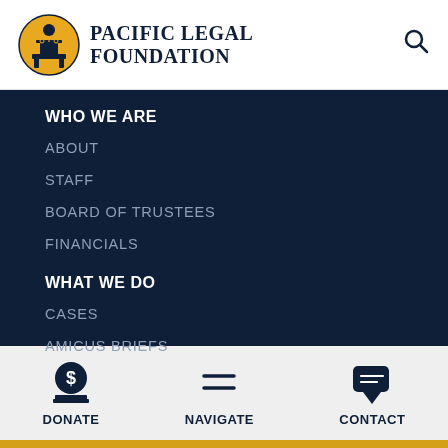[Figure (logo): Pacific Legal Foundation logo with circular yellow emblem featuring a figure with scales of justice]
PACIFIC LEGAL FOUNDATION
WHO WE ARE
ABOUT
STAFF
BOARD OF TRUSTEES
FINANCIALS
WHAT WE DO
CASES
AMICUS BRIEFS
DONATE  NAVIGATE  CONTACT